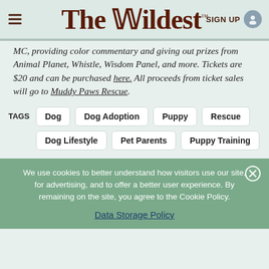The Wildest™  SIGN UP
MC, providing color commentary and giving out prizes from Animal Planet, Whistle, Wisdom Panel, and more. Tickets are $20 and can be purchased here. All proceeds from ticket sales will go to Muddy Paws Rescue.
TAGS  Dog  Dog Adoption  Puppy  Rescue  Dog Lifestyle  Pet Parents  Puppy Training
We use cookies to better understand how visitors use our site, for advertising, and to offer a better user experience. By remaining on the site, you agree to the Cookie Policy.
Data Storage Policy